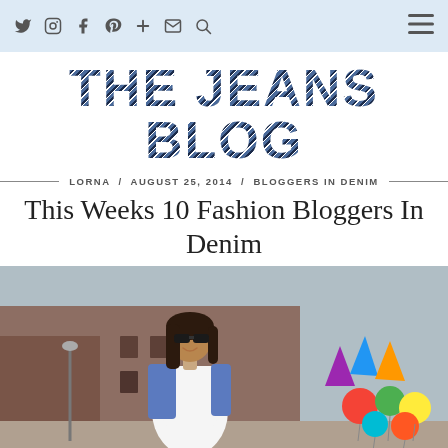Navigation bar with social icons (Twitter, Instagram, Facebook, Pinterest, Google+, Email, Search) and hamburger menu
[Figure (logo): The Jeans Blog logo in large denim-textured bold uppercase text]
LORNA / AUGUST 25, 2014 / BLOGGERS IN DENIM
This Weeks 10 Fashion Bloggers In Denim
[Figure (photo): Woman with long dark hair wearing sunglasses and a denim jacket over a white dress, smiling outdoors near a historic building with colorful balloon animals on the right]